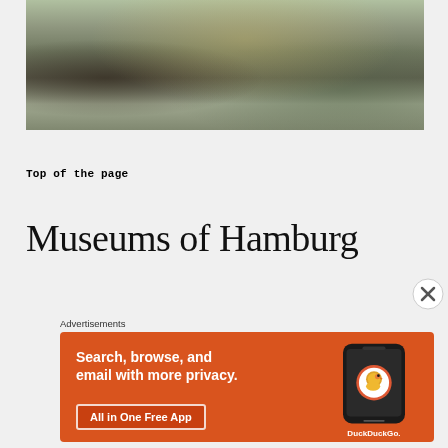[Figure (photo): Outdoor crowd scene with people photographed from behind, one person in green jacket holding a camera/lens up to their face, sunny day with people gathered in an open area]
Top of the page
Museums of Hamburg
Advertisements
[Figure (photo): DuckDuckGo advertisement banner with orange background. Text: 'Search, browse, and email with more privacy. All in One Free App' with DuckDuckGo logo on a smartphone mockup and DuckDuckGo branding.]